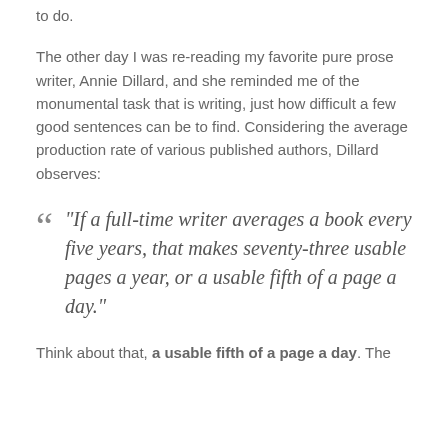to do.
The other day I was re-reading my favorite pure prose writer, Annie Dillard, and she reminded me of the monumental task that is writing, just how difficult a few good sentences can be to find. Considering the average production rate of various published authors, Dillard observes:
“If a full-time writer averages a book every five years, that makes seventy-three usable pages a year, or a usable fifth of a page a day.”
Think about that, a usable fifth of a page a day. The